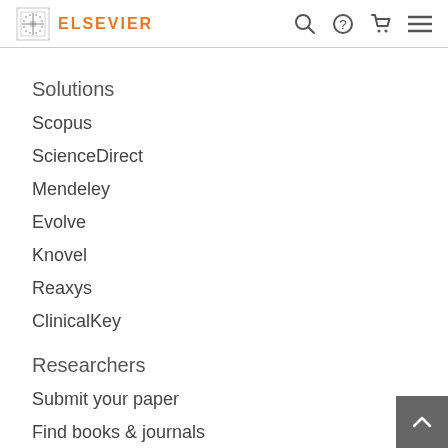ELSEVIER
Solutions
Scopus
ScienceDirect
Mendeley
Evolve
Knovel
Reaxys
ClinicalKey
Researchers
Submit your paper
Find books & journals